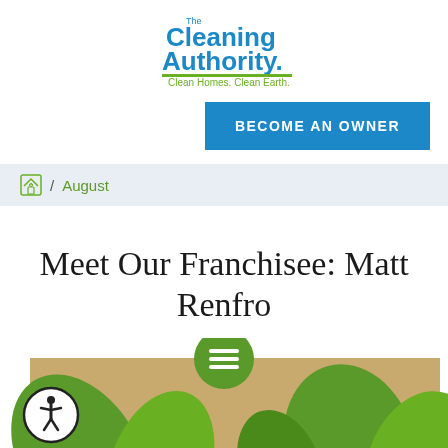[Figure (logo): The Cleaning Authority logo with tagline 'Clean Homes. Clean Earth.']
[Figure (other): Blue button with text 'BECOME AN OWNER']
/ August
Meet Our Franchisee: Matt Renfro
[Figure (illustration): Decorative green and tan illustrated background with leaf shapes, accessibility icon circle on left, green hamburger menu circle in center]